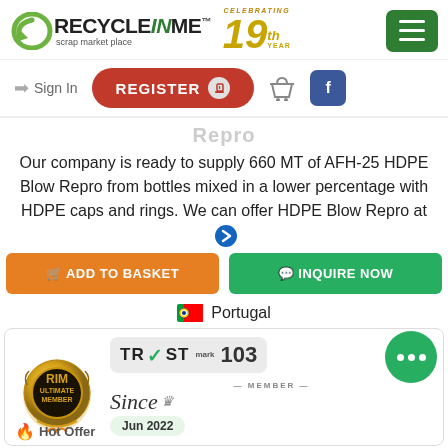[Figure (logo): RecycleINme scrap market place logo with celebrating 19th year badge and hamburger menu button]
[Figure (infographic): Navigation bar with Sign In link, REGISTER button, basket icon and Facebook icon]
Repro
Our company is ready to supply 660 MT of AFH-25 HDPE Blow Repro from bottles mixed in a lower percentage with HDPE caps and rings. We can offer HDPE Blow Repro at
[Figure (infographic): ADD TO BASKET orange button and INQUIRE NOW green button]
Portugal
[Figure (infographic): RIM ULTIMATE MEMBER gold badge, TRUST mark 103 badge, Member Since Jun 2022, chat bubble icon, Hot Offer text]